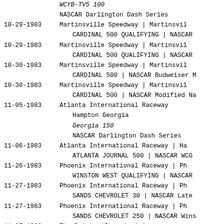WCYB-TV5 100
NASCAR Darlington Dash Series
10-29-1983  Martinsville Speedway | Martinsville  CARDINAL 500 QUALIFYING | NASCAR
10-29-1983  Martinsville Speedway | Martinsville  CARDINAL 500 QUALIFYING | NASCAR
10-30-1983  Martinsville Speedway | Martinsville  CARDINAL 500 | NASCAR Budweiser M
10-30-1983  Martinsville Speedway | Martinsville  CARDINAL 500 | NASCAR Modified Na
11-05-1983  Atlanta International Raceway  Hampton Georgia  Georgia 150  NASCAR Darlington Dash Series
11-06-1983  Atlanta International Raceway | Hampton  ATLANTA JOURNAL 500 | NASCAR WCGM
11-26-1983  Phoenix International Raceway | Pho  WINSTON WEST QUALIFYING | NASCAR
11-27-1983  Phoenix International Raceway | Pho  SANDS CHEVROLET 30 | NASCAR Late
11-27-1983  Phoenix International Raceway | Pho  SANDS CHEVROLET 250 | NASCAR Wins
11-27-1983  The Pointe | Phoenix Arizona